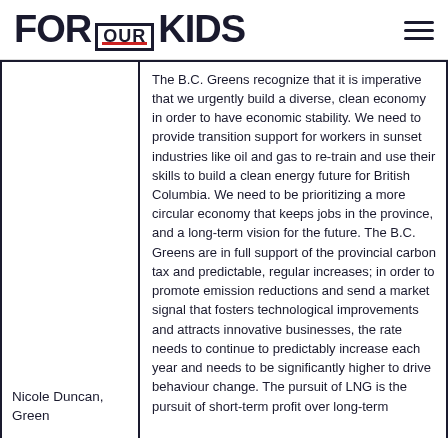FOR OUR KIDS
Nicole Duncan, Green
The B.C. Greens recognize that it is imperative that we urgently build a diverse, clean economy in order to have economic stability. We need to provide transition support for workers in sunset industries like oil and gas to re-train and use their skills to build a clean energy future for British Columbia. We need to be prioritizing a more circular economy that keeps jobs in the province, and a long-term vision for the future. The B.C. Greens are in full support of the provincial carbon tax and predictable, regular increases; in order to promote emission reductions and send a market signal that fosters technological improvements and attracts innovative businesses, the rate needs to continue to predictably increase each year and needs to be significantly higher to drive behaviour change. The pursuit of LNG is the pursuit of short-term profit over long-term